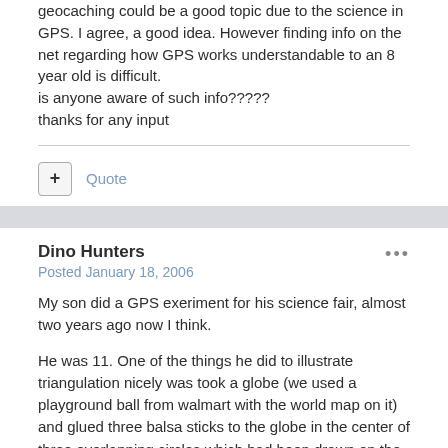geocaching could be a good topic due to the science in GPS. I agree, a good idea. However finding info on the net regarding how GPS works understandable to an 8 year old is difficult.
is anyone aware of such info?????
thanks for any input
Quote
Dino Hunters
Posted January 18, 2006
My son did a GPS exeriment for his science fair, almost two years ago now I think.
He was 11. One of the things he did to illustrate triangulation nicely was took a globe (we used a playground ball from walmart with the world map on it) and glued three balsa sticks to the globe in the center of three overlapping circles which had been drawn on the ball with marker.